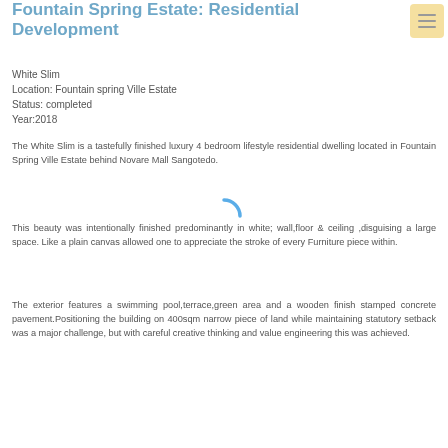Fountain Spring Estate: Residential Development
White Slim
Location: Fountain spring Ville Estate
Status: completed
Year:2018
The White Slim is a tastefully finished luxury 4 bedroom lifestyle residential dwelling located in Fountain Spring Ville Estate behind Novare Mall Sangotedo.
This beauty was intentionally finished predominantly in white; wall,floor & ceiling ,disguising a large space. Like a plain canvas allowed one to appreciate the stroke of every Furniture piece within.
The exterior features a swimming pool,terrace,green area and a wooden finish stamped concrete pavement.Positioning the building on 400sqm narrow piece of land while maintaining statutory setback was a major challenge, but with careful creative thinking and value engineering this was achieved.